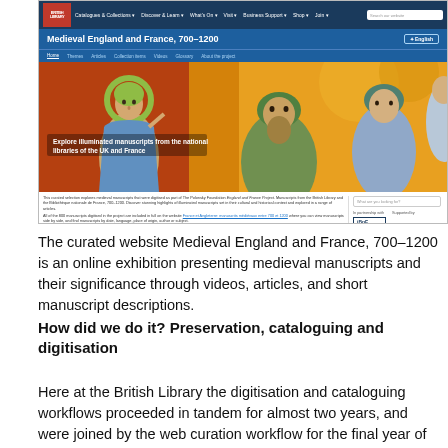[Figure (screenshot): Screenshot of the British Library website showing the 'Medieval England and France, 700–1200' curated online exhibition page, with navigation bar, hero image of illuminated manuscript figures, and introductory text about the project. Partners shown: BnF and The Polonsky Foundation.]
The curated website Medieval England and France, 700–1200 is an online exhibition presenting medieval manuscripts and their significance through videos, articles, and short manuscript descriptions.
How did we do it? Preservation, cataloguing and digitisation
Here at the British Library the digitisation and cataloguing workflows proceeded in tandem for almost two years, and were joined by the web curation workflow for the final year of the